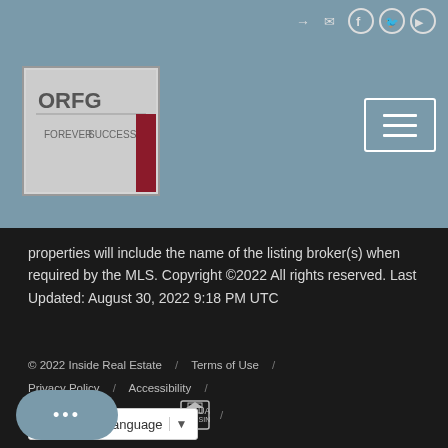[Figure (logo): ORFG real estate company logo in a bordered box]
properties will include the name of the listing broker(s) when required by the MLS. Copyright ©2022 All rights reserved. Last Updated: August 30, 2022 9:18 PM UTC
© 2022 Inside Real Estate / Terms of Use / Privacy Policy / Accessibility / Fair Housing Statement /
[Figure (screenshot): Google Translate language selector widget]
[Figure (illustration): Chat bubble button with ellipsis dots]